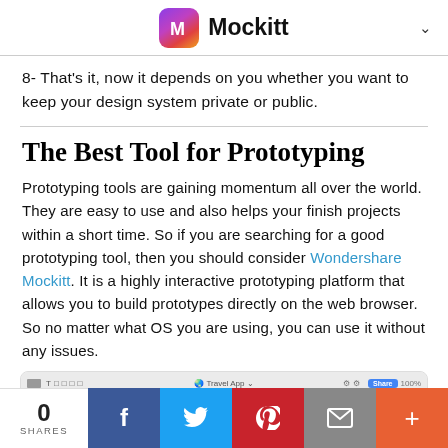Mockitt
8- That's it, now it depends on you whether you want to keep your design system private or public.
The Best Tool for Prototyping
Prototyping tools are gaining momentum all over the world. They are easy to use and also helps your finish projects within a short time. So if you are searching for a good prototyping tool, then you should consider Wondershare Mockitt. It is a highly interactive prototyping platform that allows you to build prototypes directly on the web browser. So no matter what OS you are using, you can use it without any issues.
[Figure (screenshot): Screenshot of Wondershare Mockitt prototyping tool interface showing toolbar and canvas with Travel App project]
0 SHARES | Facebook | Twitter | Pinterest | Email | More